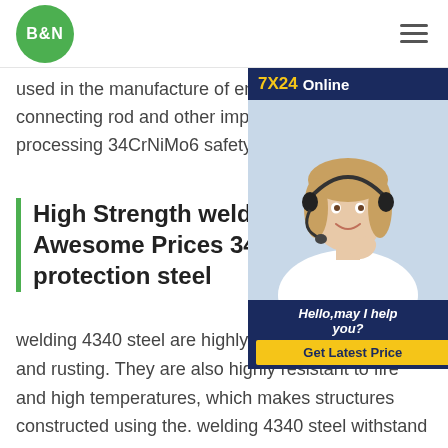B&N
used in the manufacture of engine cam connecting rod and other important pa processing 34CrNiMo6 safety protectio
High Strength welding 4340 Awesome Prices 34CrNiMo protection steel
[Figure (photo): Customer service representative with headset, 7X24 Online chat widget with 'Hello, may I help you?' and 'Get Latest Price' button]
welding 4340 steel are highly resistant to corrosion and rusting. They are also highly resistant to fire and high temperatures, which makes structures constructed using the. welding 4340 steel withstand fire to a greater extent. Enjoy all of these safety and